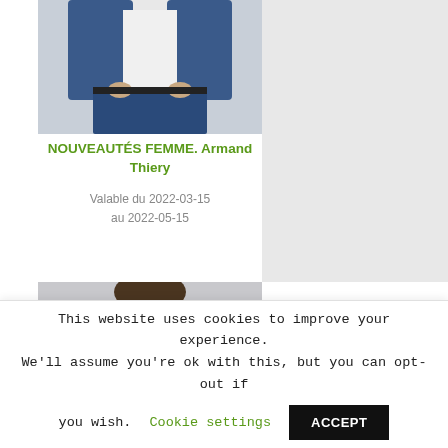[Figure (photo): A person wearing a denim jacket and jeans, standing against a light background. Only the torso and lower half visible.]
NOUVEAUTÉS FEMME. Armand Thiery
Valable du 2022-03-15 au 2022-05-15
[Figure (photo): A man with short hair and a beard, looking directly at the camera, against a light background. Head and upper torso visible.]
This website uses cookies to improve your experience. We'll assume you're ok with this, but you can opt-out if you wish. Cookie settings ACCEPT